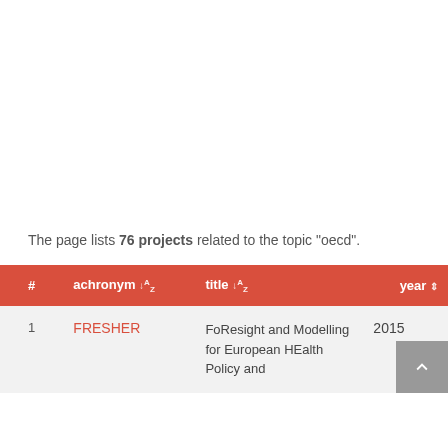The page lists 76 projects related to the topic "oecd".
| # | achronym ↓A-Z | title ↓A-Z | year ⇕ |
| --- | --- | --- | --- |
| 1 | FRESHER | FoResight and Modelling for European HEalth Policy and ... | 2015 |